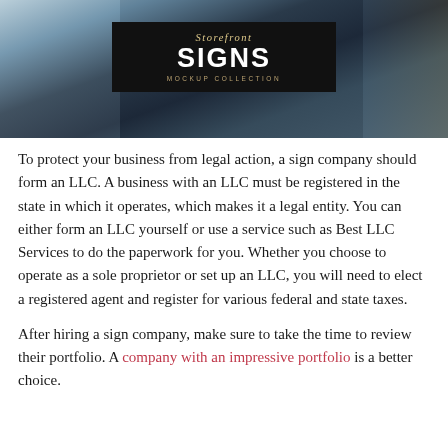[Figure (photo): Photo of storefront signs on a building exterior. A dark sign board in the center reads 'Storefront SIGNS MOCKUP COLLECTION' in elegant typography. The background shows a building facade with windows.]
To protect your business from legal action, a sign company should form an LLC. A business with an LLC must be registered in the state in which it operates, which makes it a legal entity. You can either form an LLC yourself or use a service such as Best LLC Services to do the paperwork for you. Whether you choose to operate as a sole proprietor or set up an LLC, you will need to elect a registered agent and register for various federal and state taxes.
After hiring a sign company, make sure to take the time to review their portfolio. A company with an impressive portfolio is a better choice.